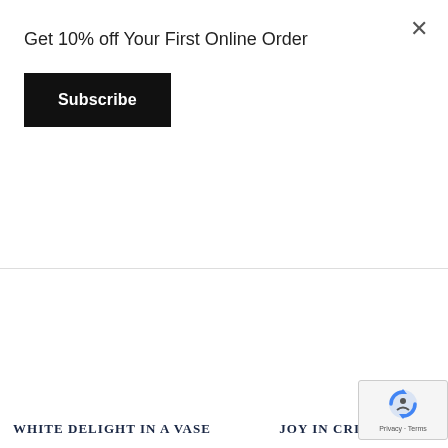Get 10% off Your First Online Order
Subscribe
×
WHITE DELIGHT IN A VASE
JOY IN CRIMSO
[Figure (logo): reCAPTCHA badge with blue recycling-style logo and Privacy · Terms text]